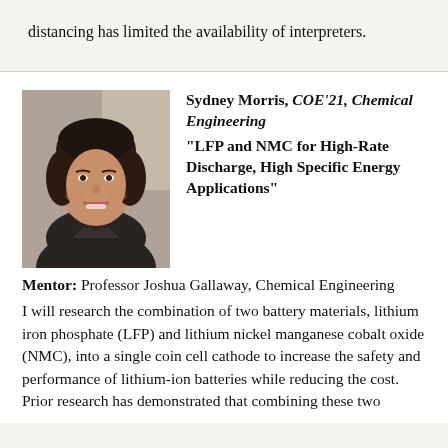distancing has limited the availability of interpreters.
[Figure (photo): Headshot photo of Sydney Morris, a young woman with dark hair, smiling]
Sydney Morris, COE'21, Chemical Engineering
"LFP and NMC for High-Rate Discharge, High Specific Energy Applications"
Mentor: Professor Joshua Gallaway, Chemical Engineering
I will research the combination of two battery materials, lithium iron phosphate (LFP) and lithium nickel manganese cobalt oxide (NMC), into a single coin cell cathode to increase the safety and performance of lithium-ion batteries while reducing the cost. Prior research has demonstrated that combining these two